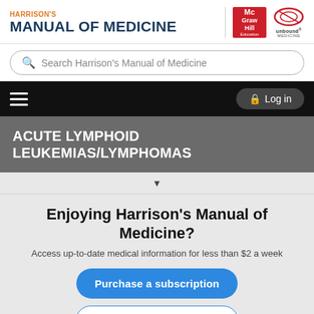[Figure (logo): Harrison's Manual of Medicine logo with McGraw-Hill Education and Unbound Medicine logos]
Search Harrison's Manual of Medicine
Menu and Log in navigation bar
ACUTE LYMPHOID LEUKEMIAS/LYMPHOMAS
Enjoying Harrison's Manual of Medicine?
Access up-to-date medical information for less than $2 a week
Purchase a subscription
I'm already a subscriber